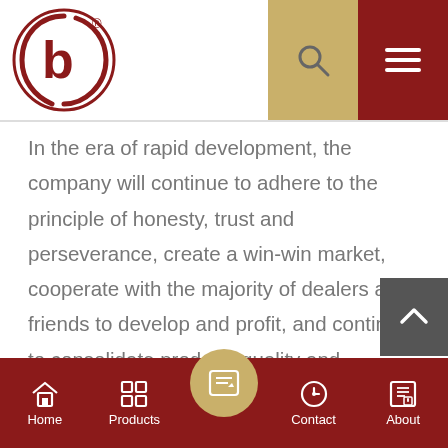[Figure (logo): Red circular logo with 'b' letter design and registered trademark symbol]
In the era of rapid development, the company will continue to adhere to the principle of honesty, trust and perseverance, create a win-win market, cooperate with the majority of dealers and friends to develop and profit, and continue to consolidate prod-uct quality and structure. The company will be based on quality, market-oriented, customer-focused, and strive to establish a good faith benchmarking enterprise.
Home  Products  Contact  About